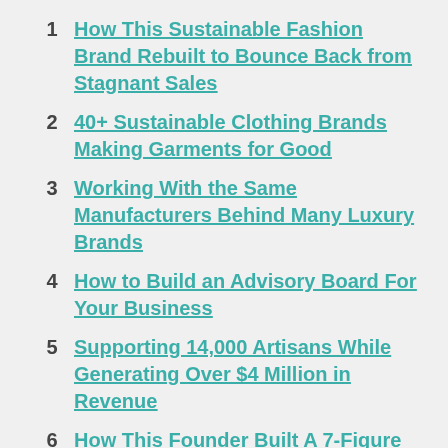1. How This Sustainable Fashion Brand Rebuilt to Bounce Back from Stagnant Sales
2. 40+ Sustainable Clothing Brands Making Garments for Good
3. Working With the Same Manufacturers Behind Many Luxury Brands
4. How to Build an Advisory Board For Your Business
5. Supporting 14,000 Artisans While Generating Over $4 Million in Revenue
6. How This Founder Built A 7-Figure Business While Keeping A Full-Time Job